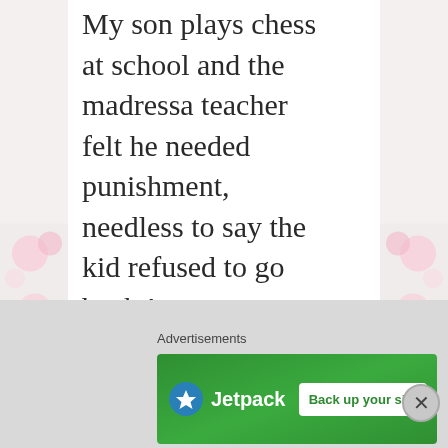My son plays chess at school and the madressa teacher felt he needed punishment, needless to say the kid refused to go back !
★ Liked by 1 person
Advertisements
[Figure (screenshot): Jetpack advertisement banner with green background, Jetpack logo on left, and 'Back up your site' button on right]